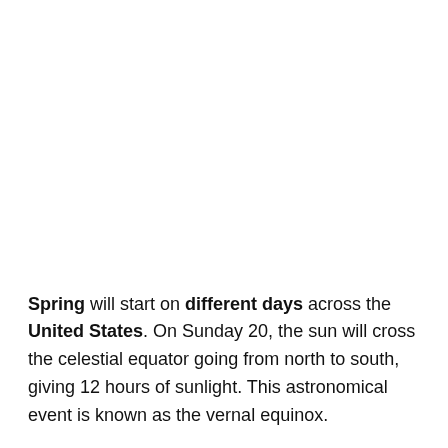Spring will start on different days across the United States. On Sunday 20, the sun will cross the celestial equator going from north to south, giving 12 hours of sunlight. This astronomical event is known as the vernal equinox.